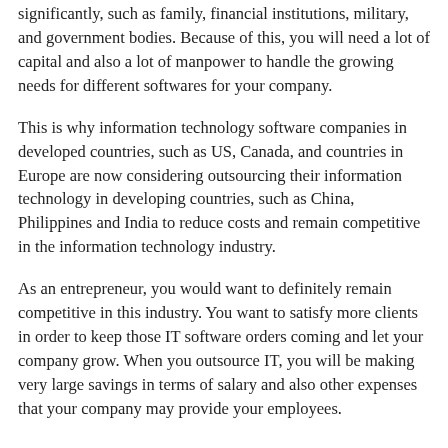significantly, such as family, financial institutions, military, and government bodies. Because of this, you will need a lot of capital and also a lot of manpower to handle the growing needs for different softwares for your company.
This is why information technology software companies in developed countries, such as US, Canada, and countries in Europe are now considering outsourcing their information technology in developing countries, such as China, Philippines and India to reduce costs and remain competitive in the information technology industry.
As an entrepreneur, you would want to definitely remain competitive in this industry. You want to satisfy more clients in order to keep those IT software orders coming and let your company grow. When you outsource IT, you will be making very large savings in terms of salary and also other expenses that your company may provide your employees.